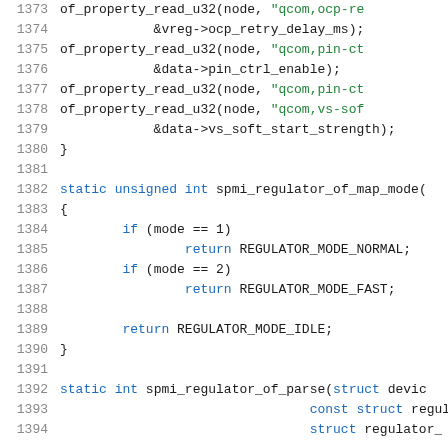[Figure (screenshot): Source code listing lines 1373-1394 of a Linux kernel C file showing spmi_regulator functions with syntax highlighting. Line numbers in gray on left, keywords in blue, string literals in green, other code in dark/black.]